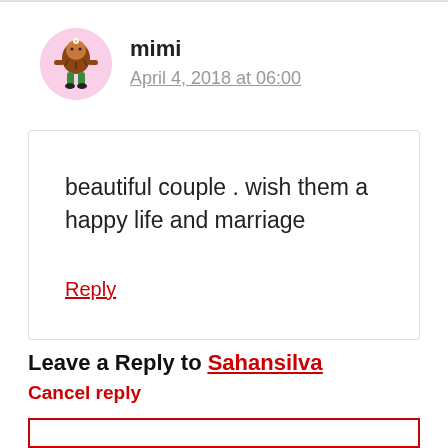[Figure (illustration): Cartoon avatar of a character with a brown beard/body, green legs, wearing a pink circular background — commenter avatar for 'mimi']
mimi
April 4, 2018 at 06:00
beautiful couple . wish them a happy life and marriage
Reply
Leave a Reply to Sahansilva Cancel reply